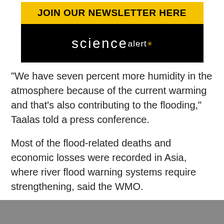[Figure (screenshot): ScienceAlert newsletter banner with black background, yellow 'JOIN OUR NEWSLETTER HERE' button, and ScienceAlert logo in white text with yellow asterisk.]
"We have seven percent more humidity in the atmosphere because of the current warming and that's also contributing to the flooding," Taalas told a press conference.
Most of the flood-related deaths and economic losses were recorded in Asia, where river flood warning systems require strengthening, said the WMO.
At the same time, the globe has seen more 38...